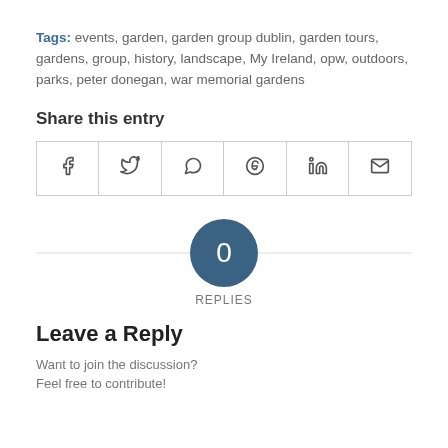Tags: events, garden, garden group dublin, garden tours, gardens, group, history, landscape, My Ireland, opw, outdoors, parks, peter donegan, war memorial gardens
Share this entry
[Figure (other): Social share icons row: Facebook, Twitter, WhatsApp, Pinterest, LinkedIn, Email]
[Figure (other): Circle badge showing 0 REPLIES]
Leave a Reply
Want to join the discussion?
Feel free to contribute!